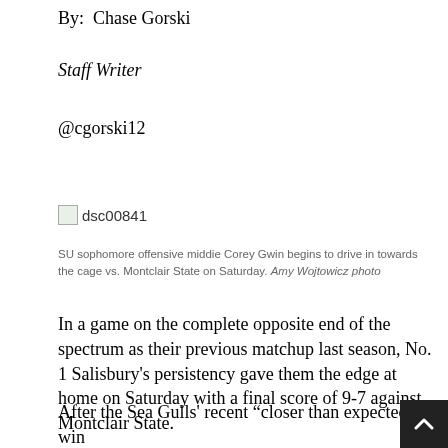By:  Chase Gorski
Staff Writer
@cgorski12
[Figure (photo): Broken/missing image placeholder labeled dsc00841]
SU sophomore offensive middie Corey Gwin begins to drive in towards the cage vs. Montclair State on Saturday. Amy Wojtowicz photo
In a game on the complete opposite end of the spectrum as their previous matchup last season, No. 1 Salisbury's persistency gave them the edge at home on Saturday with a final score of 9-7 against Montclair State.
After the Sea Gulls' recent “closer than expected” win against Lynchburg, their game against Montclair St…